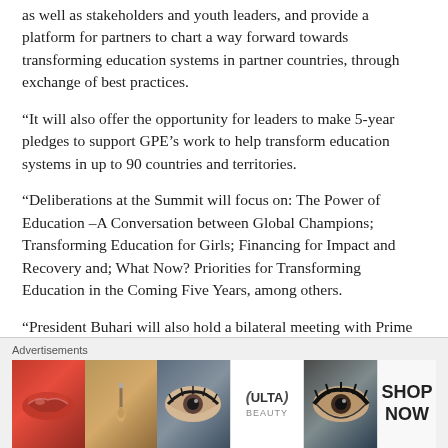as well as stakeholders and youth leaders, and provide a platform for partners to chart a way forward towards transforming education systems in partner countries, through exchange of best practices.
“It will also offer the opportunity for leaders to make 5-year pledges to support GPE’s work to help transform education systems in up to 90 countries and territories.
“Deliberations at the Summit will focus on: The Power of Education –A Conversation between Global Champions; Transforming Education for Girls; Financing for Impact and Recovery and; What Now? Priorities for Transforming Education in the Coming Five Years, among others.
“President Buhari will also hold a bilateral meeting with Prime Minister Boris Johnson.
Advertisements
[Figure (other): Advertisement banner for Ulta Beauty showing close-up images of lips with makeup, a makeup brush, eye with makeup, Ulta logo, eye with dramatic makeup, and a Shop Now call-to-action button.]